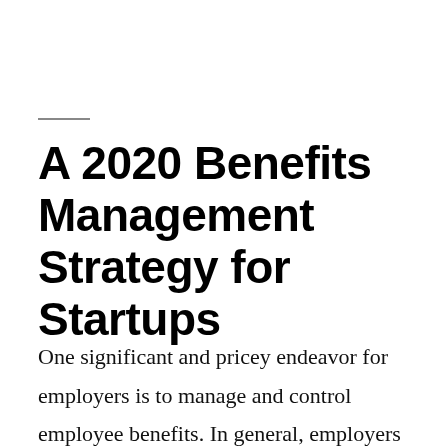A 2020 Benefits Management Strategy for Startups
One significant and pricey endeavor for employers is to manage and control employee benefits. In general, employers should grant